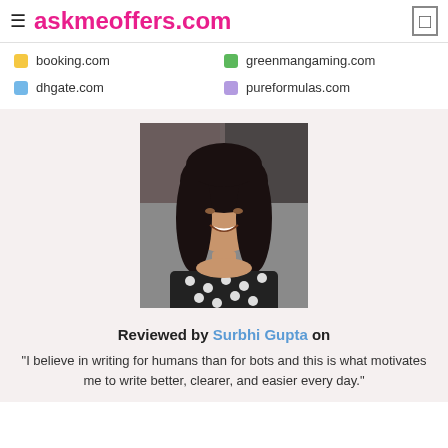≡ askmeoffers.com
booking.com
greenmangaming.com
dhgate.com
pureformulas.com
[Figure (photo): Headshot of Surbhi Gupta, a woman with dark wavy hair, smiling, wearing a black and white polka-dot top, seated indoors.]
Reviewed by Surbhi Gupta on
"I believe in writing for humans than for bots and this is what motivates me to write better, clearer, and easier every day."